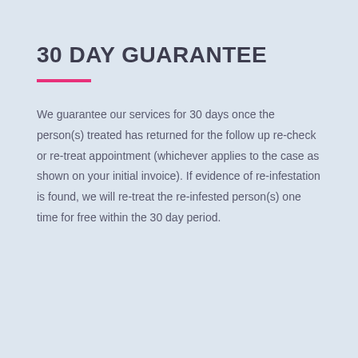30 DAY GUARANTEE
We guarantee our services for 30 days once the person(s) treated has returned for the follow up re-check or re-treat appointment (whichever applies to the case as shown on your initial invoice). If evidence of re-infestation is found, we will re-treat the re-infested person(s) one time for free within the 30 day period.